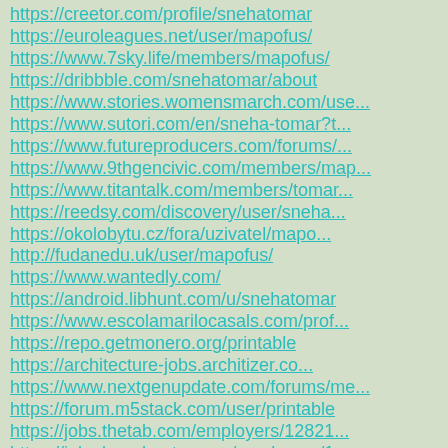https://creetor.com/profile/snehatomar
https://euroleagues.net/user/mapofus/
https://www.7sky.life/members/mapofus/
https://dribbble.com/snehatomar/about
https://www.stories.womensmarch.com/use...
https://www.sutori.com/en/sneha-tomar?t...
https://www.futureproducers.com/forums/...
https://www.9thgencivic.com/members/map...
https://www.titantalk.com/members/tomar...
https://reedsy.com/discovery/user/sneha...
https://okolobytu.cz/fora/uzivatel/mapo...
http://fudanedu.uk/user/mapofus/
https://www.wantedly.com/
https://android.libhunt.com/u/snehatomar
https://www.escolamarilocasals.com/prof...
https://repo.getmonero.org/printable
https://architecture-jobs.architizer.co...
https://www.nextgenupdate.com/forums/me...
https://forum.m5stack.com/user/printable
https://jobs.thetab.com/employers/12821...
https://jobs.beanhunter.com/employers/1...
https://hairsellon.com/author/printable/
https://kuula.co/profile/printable
https://...